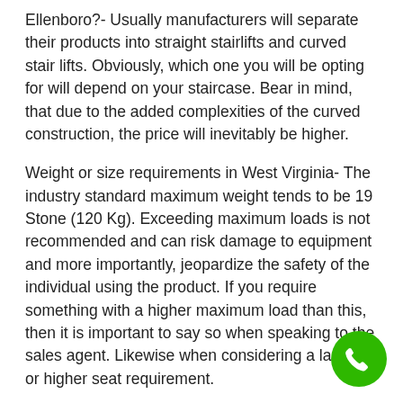Ellenboro?- Usually manufacturers will separate their products into straight stairlifts and curved stair lifts. Obviously, which one you will be opting for will depend on your staircase. Bear in mind, that due to the added complexities of the curved construction, the price will inevitably be higher.
Weight or size requirements in West Virginia- The industry standard maximum weight tends to be 19 Stone (120 Kg). Exceeding maximum loads is not recommended and can risk damage to equipment and more importantly, jeopardize the safety of the individual using the product. If you require something with a higher maximum load than this, then it is important to say so when speaking to the sales agent. Likewise when considering a larger or higher seat requirement.